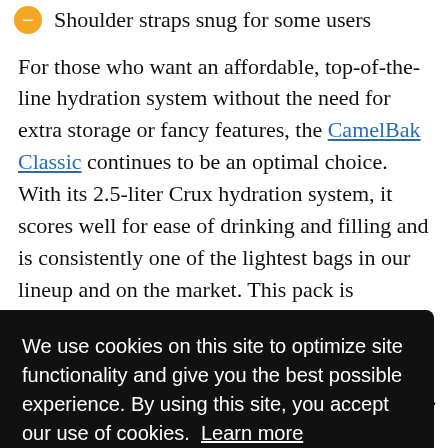Shoulder straps snug for some users
For those who want an affordable, top-of-the-line hydration system without the need for extra storage or fancy features, the CamelBak Classic continues to be an optimal choice. With its 2.5-liter Crux hydration system, it scores well for ease of drinking and filling and is consistently one of the lightest bags in our lineup and on the market. This pack is essentially just a bladder and some shoulder straps with a
We use cookies on this site to optimize site functionality and give you the best possible experience. By using this site, you accept our use of cookies. Learn more
your keys and an energy bar, and that's about it. But if you